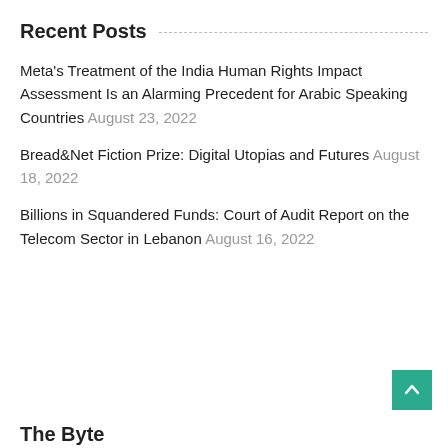Recent Posts
Meta's Treatment of the India Human Rights Impact Assessment Is an Alarming Precedent for Arabic Speaking Countries August 23, 2022
Bread&Net Fiction Prize: Digital Utopias and Futures August 18, 2022
Billions in Squandered Funds: Court of Audit Report on the Telecom Sector in Lebanon August 16, 2022
The Byte